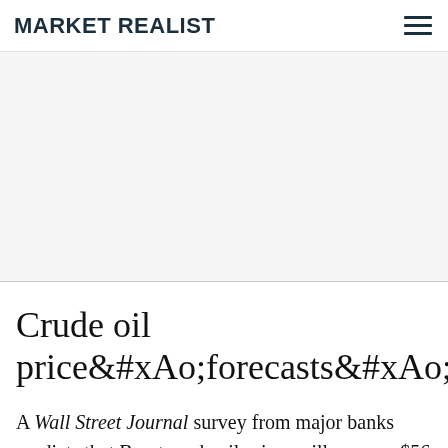MARKET REALIST
[Figure (other): Advertisement / placeholder area with light gray background]
Crude oil price&#xA0;forecasts&#xA0;
A Wall Street Journal survey from major banks predicts that Brent crude oil prices will average $56 per barrel in